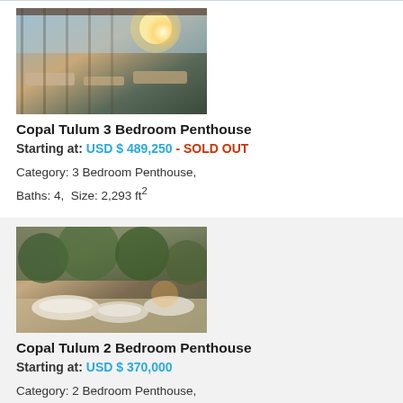[Figure (photo): Exterior/terrace view of Copal Tulum 3 Bedroom Penthouse with lounge chairs and water view]
Copal Tulum 3 Bedroom Penthouse
Starting at: USD $ 489,250 - SOLD OUT
Category: 3 Bedroom Penthouse,
Baths: 4,  Size: 2,293 ft²
[Figure (photo): Interior/terrace view of Copal Tulum 2 Bedroom Penthouse with white lounge furniture]
Copal Tulum 2 Bedroom Penthouse
Starting at: USD $ 370,000
Category: 2 Bedroom Penthouse,
Baths: 2,  Size: 1,367 ft²